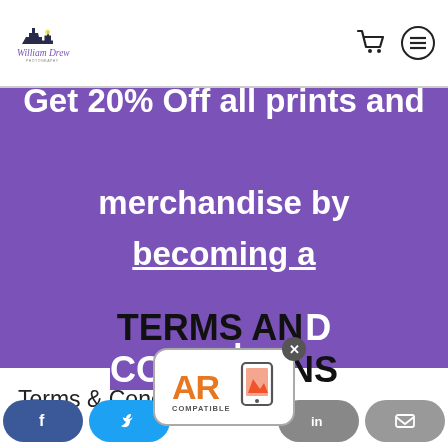[Figure (logo): William Drew photography logo with cityscape silhouette and script text]
[Figure (infographic): Navigation icons: shopping cart and hamburger menu]
Get 20% Off all prints and merchandise by becoming a member.
Terms & Conditions
TERMS AND CONDITIONS
[Figure (infographic): AR COMPATIBLE badge with close button and mobile device icon]
[Figure (infographic): Social share buttons: Facebook, Twitter, LinkedIn, Email]